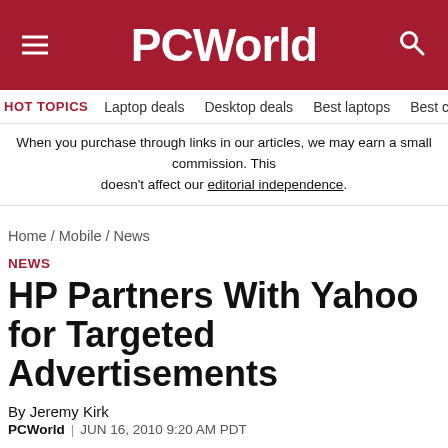PCWorld
HOT TOPICS   Laptop deals   Desktop deals   Best laptops   Best ch
When you purchase through links in our articles, we may earn a small commission. This doesn't affect our editorial independence.
Home / Mobile / News
NEWS
HP Partners With Yahoo for Targeted Advertisements
By Jeremy Kirk
PCWorld | JUN 16, 2010 9:20 AM PDT